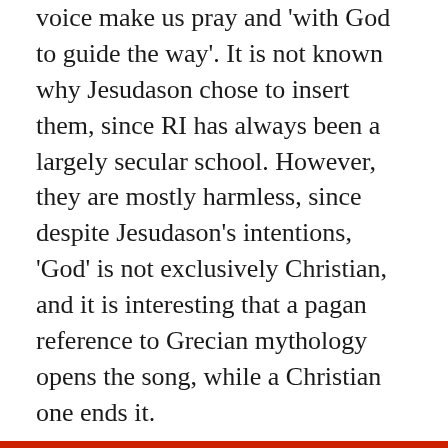voice make us pray and 'with God to guide the way'. It is not known why Jesudason chose to insert them, since RI has always been a largely secular school. However, they are mostly harmless, since despite Jesudason's intentions, 'God' is not exclusively Christian, and it is interesting that a pagan reference to Grecian mythology opens the song, while a Christian one ends it.
It seems, however, that these politically incorrect lyrics are not sufficient to 'let our hearts be stirring'. An informal survey of students' immediate visceral response – or lack thereof – revealed that although some were fond of the anthem, a considerable part